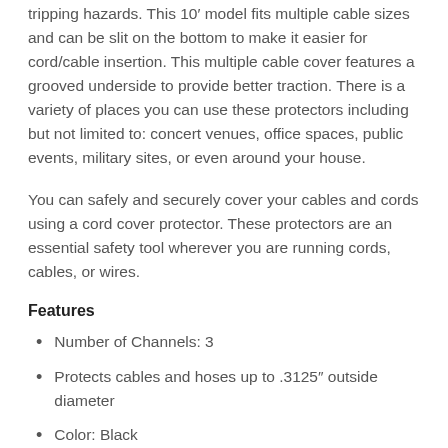tripping hazards. This 10' model fits multiple cable sizes and can be slit on the bottom to make it easier for cord/cable insertion. This multiple cable cover features a grooved underside to provide better traction. There is a variety of places you can use these protectors including but not limited to: concert venues, office spaces, public events, military sites, or even around your house.
You can safely and securely cover your cables and cords using a cord cover protector. These protectors are an essential safety tool wherever you are running cords, cables, or wires.
Features
Number of Channels: 3
Protects cables and hoses up to .3125" outside diameter
Color: Black